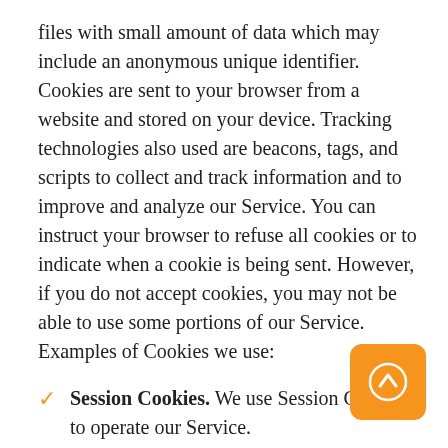files with small amount of data which may include an anonymous unique identifier. Cookies are sent to your browser from a website and stored on your device. Tracking technologies also used are beacons, tags, and scripts to collect and track information and to improve and analyze our Service. You can instruct your browser to refuse all cookies or to indicate when a cookie is being sent. However, if you do not accept cookies, you may not be able to use some portions of our Service. Examples of Cookies we use:
Session Cookies. We use Session Cookies to operate our Service.
Preference Cookies. We use Preference Cookies to remember your preferences and various settings.